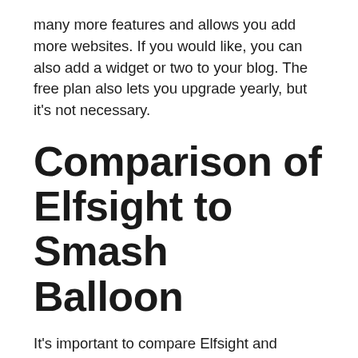many more features and allows you add more websites. If you would like, you can also add a widget or two to your blog. The free plan also lets you upgrade yearly, but it's not necessary.
Comparison of Elfsight to Smash Balloon
It's important to compare Elfsight and Smash Balloon to see the differences between each platform. Elfsight is a universal website builder, while Smash Balloon is specific to WordPress. Both allow you to create custom social media feeds or apps. The latter even